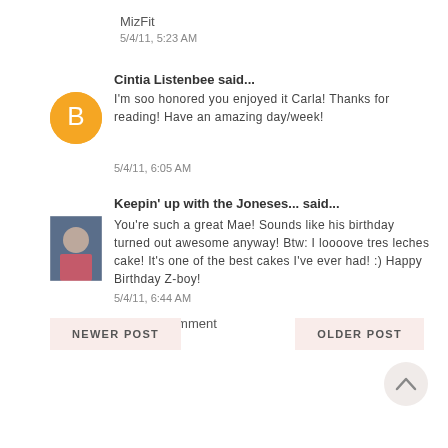MizFit
5/4/11, 5:23 AM
Cintia Listenbee said...
I'm soo honored you enjoyed it Carla! Thanks for reading! Have an amazing day/week!
5/4/11, 6:05 AM
Keepin' up with the Joneses... said...
You're such a great Mae! Sounds like his birthday turned out awesome anyway! Btw: I loooove tres leches cake! It's one of the best cakes I've ever had! :) Happy Birthday Z-boy!
5/4/11, 6:44 AM
Post a Comment
NEWER POST
OLDER POST